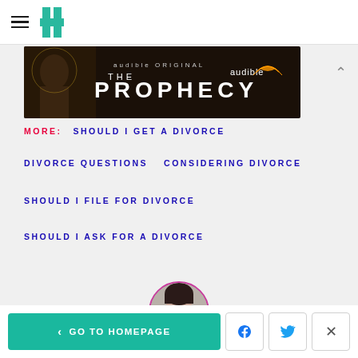HuffPost navigation logo
[Figure (other): Audible Original - The Prophecy advertisement banner with dark background and person in hood]
MORE: SHOULD I GET A DIVORCE
DIVORCE QUESTIONS
CONSIDERING DIVORCE
SHOULD I FILE FOR DIVORCE
SHOULD I ASK FOR A DIVORCE
[Figure (photo): Author profile photo - woman with dark bangs, circular cropped]
GO TO HOMEPAGE